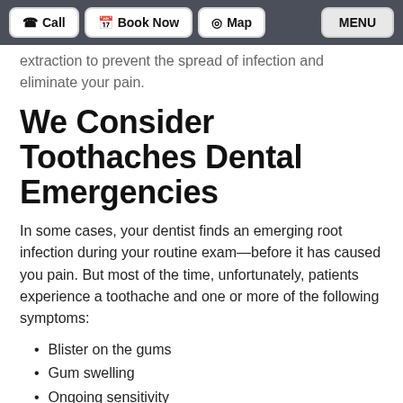Call | Book Now | Map | MENU
extraction to prevent the spread of infection and eliminate your pain.
We Consider Toothaches Dental Emergencies
In some cases, your dentist finds an emerging root infection during your routine exam—before it has caused you pain. But most of the time, unfortunately, patients experience a toothache and one or more of the following symptoms:
Blister on the gums
Gum swelling
Ongoing sensitivity
If you have any of these symptoms, we encourage